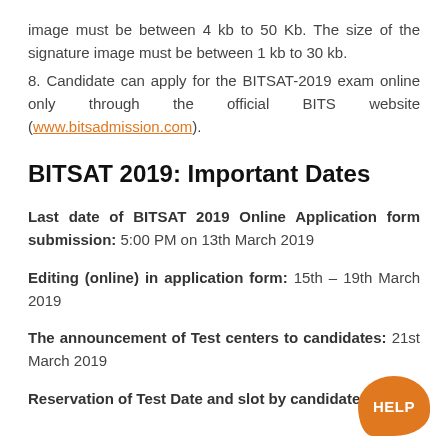image must be between 4 kb to 50 Kb. The size of the signature image must be between 1 kb to 30 kb.
8. Candidate can apply for the BITSAT-2019 exam online only through the official BITS website (www.bitsadmission.com).
BITSAT 2019: Important Dates
Last date of BITSAT 2019 Online Application form submission: 5:00 PM on 13th March 2019
Editing (online) in application form: 15th – 19th March 2019
The announcement of Test centers to candidates: 21st March 2019
Reservation of Test Date and slot by candidates: